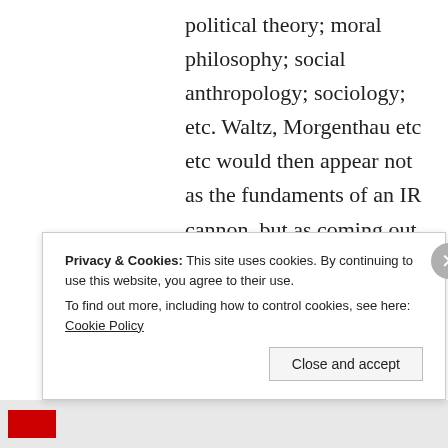political theory; moral philosophy; social anthropology; sociology; etc. Waltz, Morgenthau etc etc would then appear not as the fundaments of an IR cannon, but as coming out of engagements with other cannons. Constructivism would disappear as it is presently conceived in cannonical IR theory. We
Privacy & Cookies: This site uses cookies. By continuing to use this website, you agree to their use.
To find out more, including how to control cookies, see here: Cookie Policy